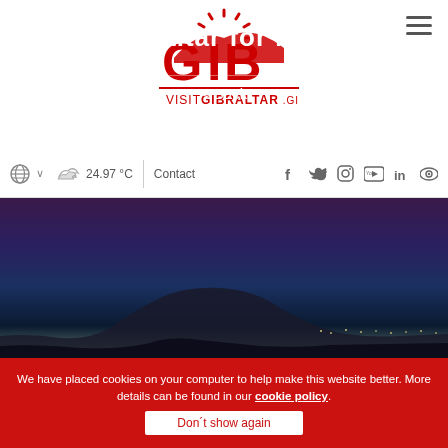[Figure (logo): GITB Visit Gibraltar .GI logo in red]
≡ (hamburger menu icon)
🌐 ∨   ☁ 24.97 °C | Contact  f  𝕹  📷  You  in  👁
[Figure (photo): Night/dusk panoramic photo of the Rock of Gibraltar with dark purple and blue sky]
Gibraltar for MICE
< Back
Home / Gibraltar for MICE
We have placed cookies on your computer to help make this website better. More details can be found in our cookie policy.
Don´t show again